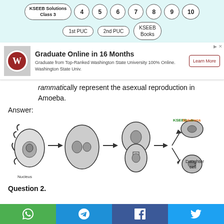KSEEB Solutions Class 3 | 4 | 5 | 6 | 7 | 8 | 9 | 10 | 1st PUC | 2nd PUC | KSEEB Books
[Figure (infographic): Advertisement banner for Washington State University: Graduate Online in 16 Months. Logo on left, text in center, Learn More button on right.]
grammatically represent the asexual reproduction in Amoeba.
Answer:
[Figure (illustration): Diagram showing asexual reproduction in Amoeba (binary fission). Shows sequence of amoeba cells with arrows indicating stages of division, labeled with 'Nucleus' and 'Daughter cell'. KSEEBSolutions.in watermark visible.]
Question 2.
Social share bar with WhatsApp, Telegram, Facebook, Twitter icons